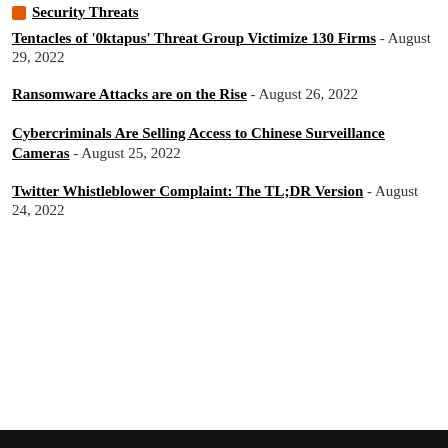Security Threats
Tentacles of '0ktapus' Threat Group Victimize 130 Firms - August 29, 2022
Ransomware Attacks are on the Rise - August 26, 2022
Cybercriminals Are Selling Access to Chinese Surveillance Cameras - August 25, 2022
Twitter Whistleblower Complaint: The TL;DR Version - August 24, 2022